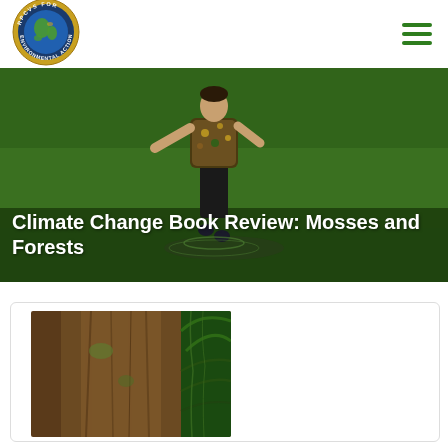[Figure (logo): RPCVS FOR ENVIRONMENTAL ACTION circular logo with globe in center]
[Figure (photo): Person in floral shirt walking through shallow water in a green forested area]
Climate Change Book Review: Mosses and Forests
[Figure (photo): Close-up of a large tree trunk with green foliage visible on the right side]